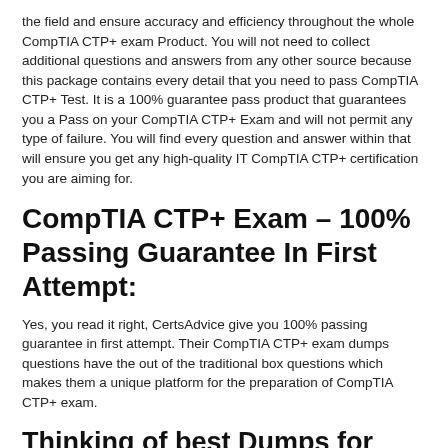the field and ensure accuracy and efficiency throughout the whole CompTIA CTP+ exam Product. You will not need to collect additional questions and answers from any other source because this package contains every detail that you need to pass CompTIA CTP+ Test. It is a 100% guarantee pass product that guarantees you a Pass on your CompTIA CTP+ Exam and will not permit any type of failure. You will find every question and answer within that will ensure you get any high-quality IT CompTIA CTP+ certification you are aiming for.
CompTIA CTP+ Exam – 100% Passing Guarantee In First Attempt:
Yes, you read it right, CertsAdvice give you 100% passing guarantee in first attempt. Their CompTIA CTP+ exam dumps questions have the out of the traditional box questions which makes them a unique platform for the preparation of CompTIA CTP+ exam.
Thinking of best Dumps for your CompTIA CTP+ Exam???